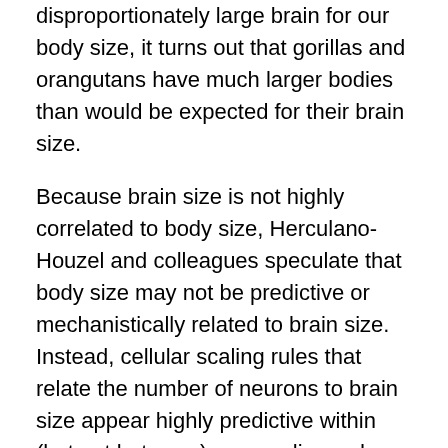disproportionately large brain for our body size, it turns out that gorillas and orangutans have much larger bodies than would be expected for their brain size.
Because brain size is not highly correlated to body size, Herculano-Houzel and colleagues speculate that body size may not be predictive or mechanistically related to brain size. Instead, cellular scaling rules that relate the number of neurons to brain size appear highly predictive within (but not between) mammalian orders (see next section).
The scaling rules for brains varies across mammalian orders: Herculano-Houzel and colleagues studied brains from several species in three different orders: primate, rodent, and insectivore. Across rodents, the size of the brain increases faster than does the number of neurons,